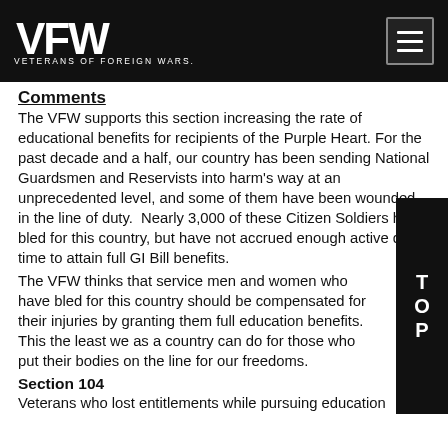VFW — Veterans of Foreign Wars
Comments
The VFW supports this section increasing the rate of educational benefits for recipients of the Purple Heart. For the past decade and a half, our country has been sending National Guardsmen and Reservists into harm's way at an unprecedented level, and some of them have been wounded in the line of duty.  Nearly 3,000 of these Citizen Soldiers have bled for this country, but have not accrued enough active duty time to attain full GI Bill benefits.
The VFW thinks that service men and women who have bled for this country should be compensated for their injuries by granting them full education benefits.  This the least we as a country can do for those who put their bodies on the line for our freedoms.
Section 104
Veterans who lost entitlements while pursuing education